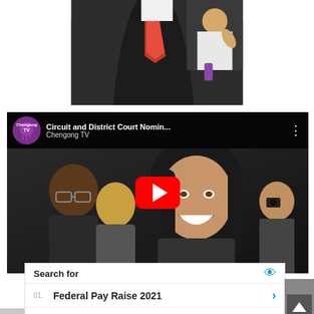[Figure (photo): A person wearing a dark suit with red tie, with a baby visible in the background, cropped photo at top of page]
[Figure (screenshot): YouTube video embed showing 'Circuit and District Court Nomin...' from Chengong TV channel, with a smiling woman and other people visible in the thumbnail, large red play button in center]
Search for
01. Federal Pay Raise 2021
02. Employees Engagement Assessment